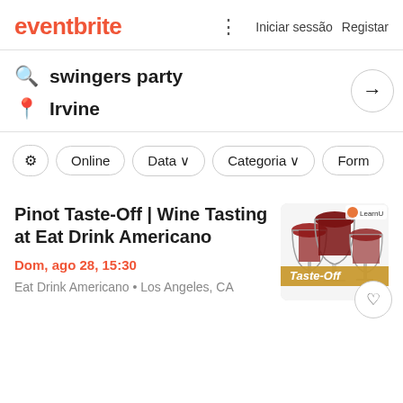eventbrite   ⋮   Iniciar sessão   Registar
swingers party
Irvine
Online   Data ∨   Categoria ∨   Form
Pinot Taste-Off | Wine Tasting at Eat Drink Americano
Dom, ago 28, 15:30
Eat Drink Americano • Los Angeles, CA
[Figure (photo): Wine tasting event image showing wine glasses with red wine and a 'Taste-Off' banner overlay, with LearnU branding]